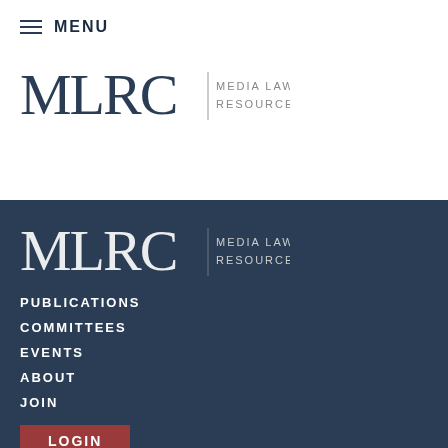MENU
[Figure (logo): MLRC Media Law Resource Center logo (dark blue, header)]
[Figure (logo): MLRC Media Law Resource Center logo (white, footer)]
PUBLICATIONS
COMMITTEES
EVENTS
ABOUT
JOIN
LOGIN